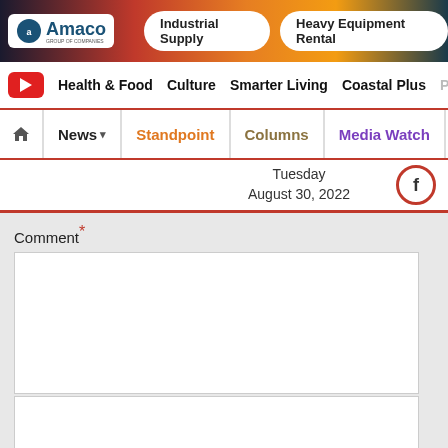[Figure (screenshot): Amaco Group of Companies banner advertisement with logo, Industrial Supply and Heavy Equipment Rental pill buttons, city skyline background]
Health & Food  Culture  Smarter Living  Coastal Plus
News  Standpoint  Columns  Media Watch  Polls
Tuesday
August 30, 2022
Comment *
Save